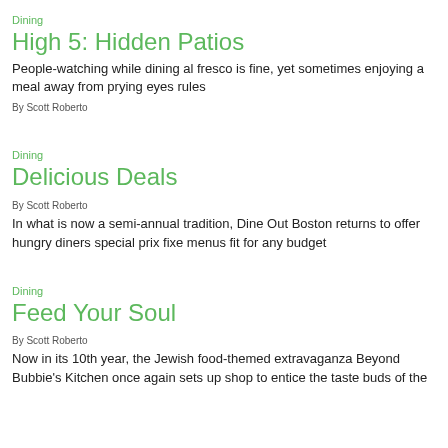Dining
High 5: Hidden Patios
People-watching while dining al fresco is fine, yet sometimes enjoying a meal away from prying eyes rules
By Scott Roberto
Dining
Delicious Deals
By Scott Roberto
In what is now a semi-annual tradition, Dine Out Boston returns to offer hungry diners special prix fixe menus fit for any budget
Dining
Feed Your Soul
By Scott Roberto
Now in its 10th year, the Jewish food-themed extravaganza Beyond Bubbie's Kitchen once again sets up shop to entice the taste buds of the